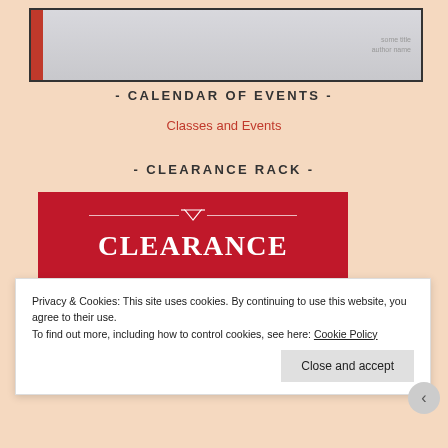[Figure (photo): Partial view of a book with red spine on light gray background]
- CALENDAR OF EVENTS -
Classes and Events
- CLEARANCE RACK -
[Figure (logo): Red background clearance rack banner with white decorative logo lines and CLEARANCE text]
Privacy & Cookies: This site uses cookies. By continuing to use this website, you agree to their use. To find out more, including how to control cookies, see here: Cookie Policy
Close and accept